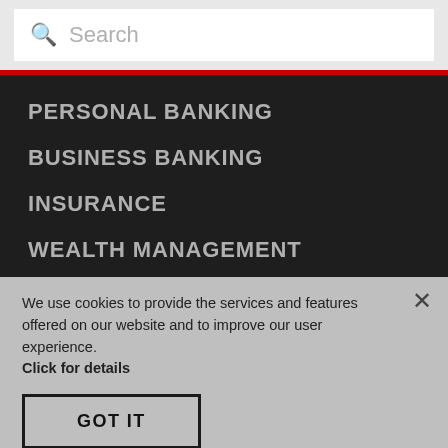Search
PERSONAL BANKING
BUSINESS BANKING
INSURANCE
WEALTH MANAGEMENT
We use cookies to provide the services and features offered on our website and to improve our user experience.
Click for details
GOT IT